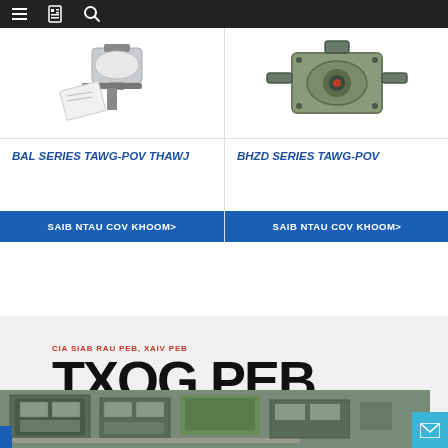Navigation bar with hamburger menu, bookmark icon, and search icon
[Figure (photo): Product photo of BAL Series Tawg-Pov Thawj device (top left card)]
[Figure (photo): Product photo of BHZD Series Tawg-Pov device (top right card)]
BAL SERIES TAWG-POV THAWJ
BHZD SERIES TAWG-POV
SAIB NTAU COV KHOOM>
SAIB NTAU COV KHOOM>
CIA SIAB RAU PEB, XAIV PEB
TXOG PEB
[Figure (photo): Aerial photograph of industrial/construction site]